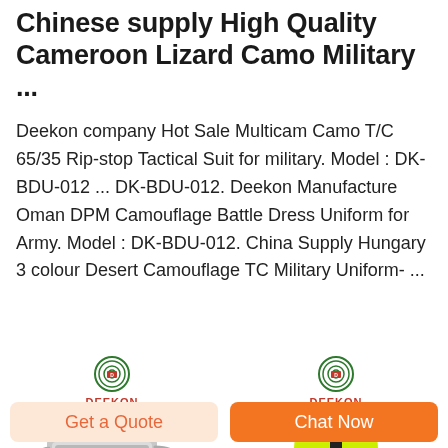Chinese supply High Quality Cameroon Lizard Camo Military ...
Deekon company Hot Sale Multicam Camo T/C 65/35 Ripstop Tactical Suit for military. Model : DK-BDU-012 ... DK-BDU-012. Deekon Manufacture Oman DPM Camouflage Battle Dress Uniform for Army. Model : DK-BDU-012. China Supply Hungary 3 colour Desert Camouflage TC Military Uniform- ...
[Figure (photo): Deekon logo above a metallic military mess tin / tray product image]
[Figure (photo): Deekon logo above a yellow/lime high-visibility safety vest product image]
Get a Quote
Chat Now